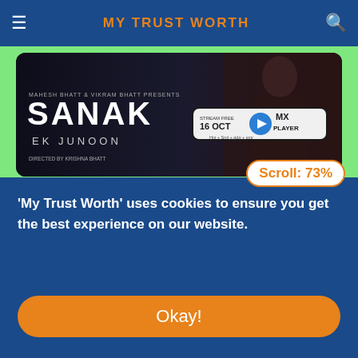MY TRUST WORTH
[Figure (screenshot): Sanak Ek Junoon movie banner with MXPlayer branding showing 'Stream Free 16 Oct']
Sanak Ek Junoon - HINDI
[Figure (screenshot): Elite Netflix show banner with red background and cast members, Netflix logo visible]
Scroll: 73%
'My Trust Worth' uses cookies to ensure you get the best experience on our website.
Okay!